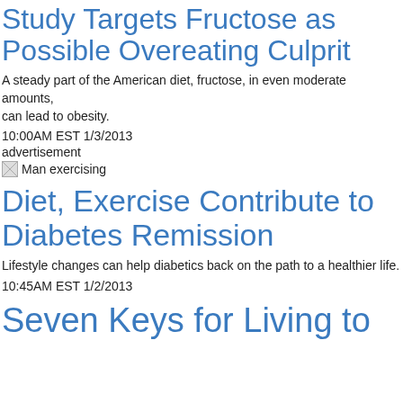Study Targets Fructose as Possible Overeating Culprit
A steady part of the American diet, fructose, in even moderate amounts, can lead to obesity.
10:00AM EST 1/3/2013
advertisement
[Figure (photo): Man exercising image placeholder]
Diet, Exercise Contribute to Diabetes Remission
Lifestyle changes can help diabetics back on the path to a healthier life.
10:45AM EST 1/2/2013
Seven Keys for Living to